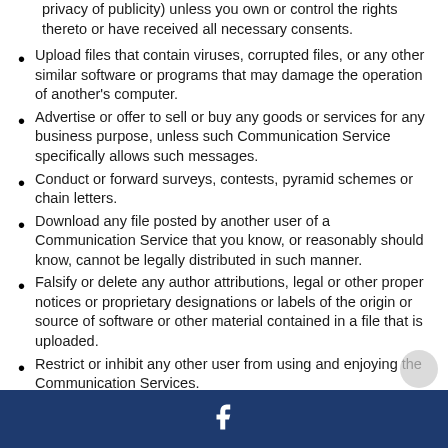privacy of publicity) unless you own or control the rights thereto or have received all necessary consents.
Upload files that contain viruses, corrupted files, or any other similar software or programs that may damage the operation of another's computer.
Advertise or offer to sell or buy any goods or services for any business purpose, unless such Communication Service specifically allows such messages.
Conduct or forward surveys, contests, pyramid schemes or chain letters.
Download any file posted by another user of a Communication Service that you know, or reasonably should know, cannot be legally distributed in such manner.
Falsify or delete any author attributions, legal or other proper notices or proprietary designations or labels of the origin or source of software or other material contained in a file that is uploaded.
Restrict or inhibit any other user from using and enjoying the Communication Services.
Violate any code of conduct or other guidelines which may be applicable for any particular Communication Service.
Harvest or otherwise collect information about others
f